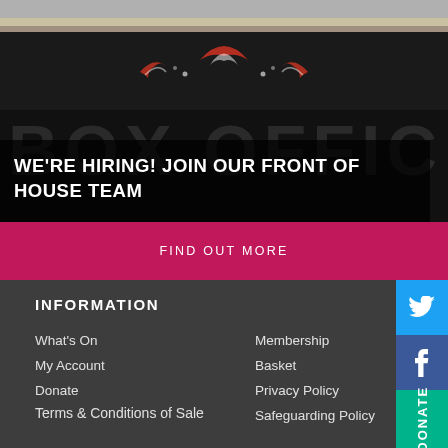[Figure (photo): Box office venue photo with decorative ornament panel at top, dark background with stylized text]
WE'RE HIRING! JOIN OUR FRONT OF HOUSE TEAM
FIND OUT MORE
INFORMATION
What's On
Membership
My Account
Basket
Donate
Privacy Policy
Terms & Conditions of Sale
Safeguarding Policy